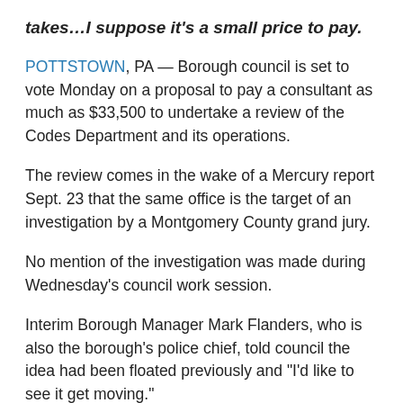takes…I suppose it's a small price to pay.
POTTSTOWN, PA — Borough council is set to vote Monday on a proposal to pay a consultant as much as $33,500 to undertake a review of the Codes Department and its operations.
The review comes in the wake of a Mercury report Sept. 23 that the same office is the target of an investigation by a Montgomery County grand jury.
No mention of the investigation was made during Wednesday's council work session.
Interim Borough Manager Mark Flanders, who is also the borough's police chief, told council the idea had been floated previously and “I’d like to see it get moving.”